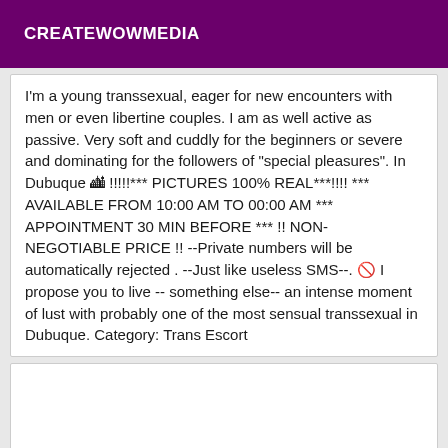CREATEWOWMEDIA
I'm a young transsexual, eager for new encounters with men or even libertine couples. I am as well active as passive. Very soft and cuddly for the beginners or severe and dominating for the followers of "special pleasures". In Dubuque 🏙 !!!!!*** PICTURES 100% REAL***!!!! *** AVAILABLE FROM 10:00 AM TO 00:00 AM *** APPOINTMENT 30 MIN BEFORE *** !! NON-NEGOTIABLE PRICE !! --Private numbers will be automatically rejected . --Just like useless SMS--. 🚫 I propose you to live -- something else-- an intense moment of lust with probably one of the most sensual transsexual in Dubuque. Category: Trans Escort